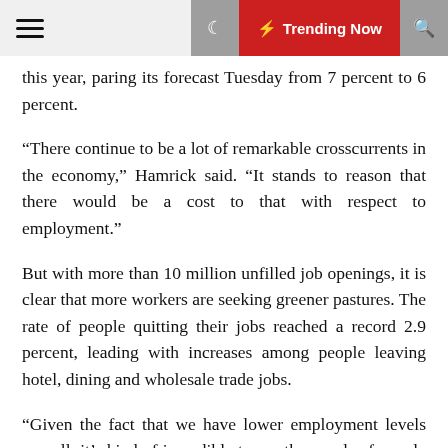☰  🌙  ⚡ Trending Now  🔍
this year, paring its forecast Tuesday from 7 percent to 6 percent.
“There continue to be a lot of remarkable crosscurrents in the economy,” Hamrick said. “It stands to reason that there would be a cost to that with respect to employment.”
But with more than 10 million unfilled job openings, it is clear that more workers are seeking greener pastures. The rate of people quitting their jobs reached a record 2.9 percent, leading with increases among people leaving hotel, dining and wholesale trade jobs.
“Given the fact that we have lower employment levels overall, it’s kind of incredible to see thousands of people quitting,” said Julia Pollak, the chief economist at ZipRecruiter.
She suggested that a continued desire to avoid jobs with a